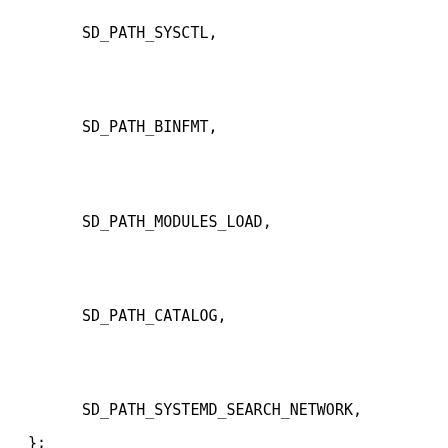SD_PATH_SYSCTL,

SD_PATH_BINFMT,

SD_PATH_MODULES_LOAD,

SD_PATH_CATALOG,

SD_PATH_SYSTEMD_SEARCH_NETWORK,
};

int sd_path_lookup(uint64_t type,
        const char *suffix, char **paths);

int sd_path_lookup_strv(uint64_t type,
        const char *suffix, char ***paths);